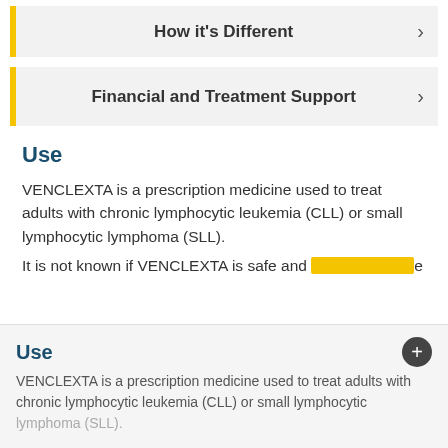How it's Different
Financial and Treatment Support
Use
VENCLEXTA is a prescription medicine used to treat adults with chronic lymphocytic leukemia (CLL) or small lymphocytic lymphoma (SLL).
It is not known if VENCLEXTA is safe and [highlighted] in
Use
VENCLEXTA is a prescription medicine used to treat adults with chronic lymphocytic leukemia (CLL) or small lymphocytic lymphoma (SLL).